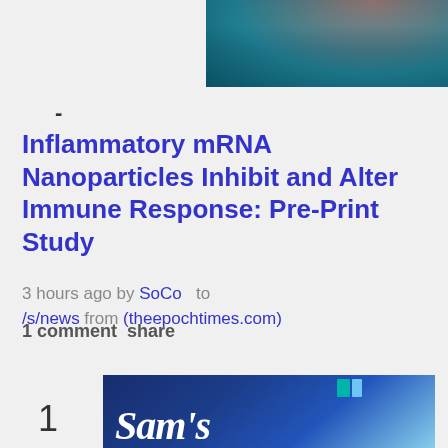[Figure (photo): Partial image at top showing what appears to be swimmers or figures in blue/teal water]
-
Inflammatory mRNA Nanoparticles Inhibit and Alter Immune Response: Pre-Print Study
3 hours ago by SoCo  to /s/news from (theepochtimes.com)
1 comment  share
[Figure (photo): Sam's Club store sign — blue background with white italic 'Sam's' text and teal/green rectangular logo icon]
1